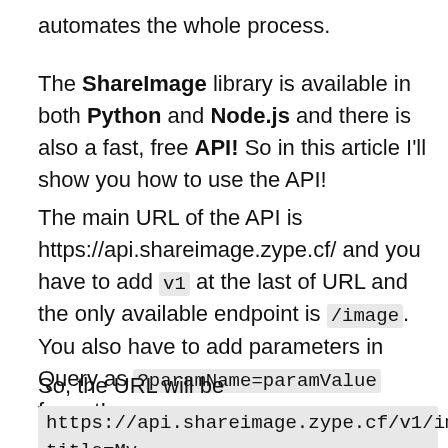automates the whole process.
The ShareImage library is available in both Python and Node.js and there is also a fast, free API! So in this article I'll show you how to use the API!
The main URL of the API is https://api.shareimage.zype.cf/ and you have to add v1 at the last of URL and the only available endpoint is /image. You also have to add parameters in Query as ?paramName=paramValue format!
So, the URL will be
https://api.shareimage.zype.cf/v1/image?title=My Awesome